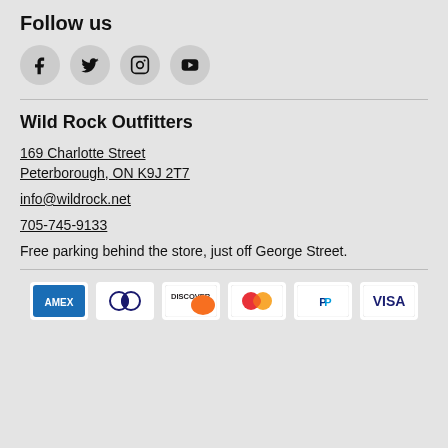Follow us
[Figure (infographic): Four social media icons: Facebook, Twitter, Instagram, YouTube — circular grey buttons]
Wild Rock Outfitters
169 Charlotte Street
Peterborough, ON K9J 2T7
info@wildrock.net
705-745-9133
Free parking behind the store, just off George Street.
[Figure (infographic): Six payment method logos: AMEX, Diners Club, Discover, Mastercard, PayPal, VISA]